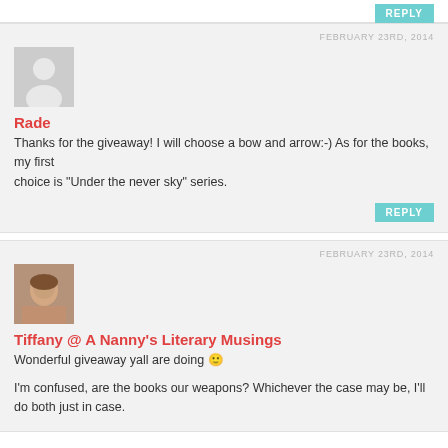REPLY
FEBRUARY 23RD, 2014
[Figure (illustration): Default avatar placeholder with silhouette figure on grey background]
Rade
Thanks for the giveaway! I will choose a bow and arrow:-) As for the books, my first choice is "Under the never sky" series.
REPLY
FEBRUARY 23RD, 2014
[Figure (photo): Profile photo of a young woman with brown hair]
Tiffany @ A Nanny's Literary Musings
Wonderful giveaway yall are doing 🙂
I'm confused, are the books our weapons? Whichever the case may be, I'll do both just in case.